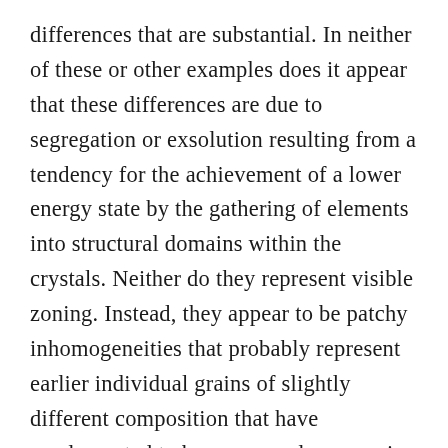differences that are substantial. In neither of these or other examples does it appear that these differences are due to segregation or exsolution resulting from a tendency for the achievement of a lower energy state by the gathering of elements into structural domains within the crystals. Neither do they represent visible zoning. Instead, they appear to be patchy inhomogeneities that probably represent earlier individual grains of slightly different composition that have amalgamated to become one larger grain as a result of grain boundary movement during metamorphism.